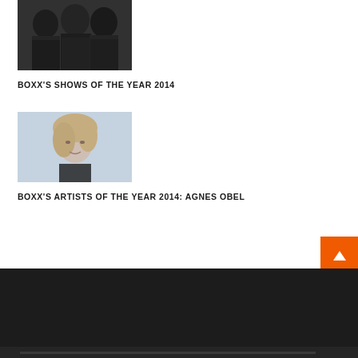[Figure (photo): Black and white photo of a group of people, appears to be a band or group portrait]
BOXX'S SHOWS OF THE YEAR 2014
[Figure (photo): Black and white portrait photo of a blonde woman looking to the side, light background]
BOXX'S ARTISTS OF THE YEAR 2014: AGNES OBEL